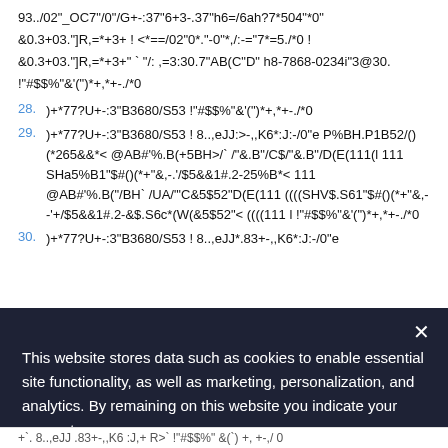93../02"_OC7"/0"/G+-:37"6+3-.37"h6=/6ah?7*504"*0"
&0.3+03."]R,=*+3+ ! <*==/02"0*."-0"*,/:-="7*=5./*0 !
&0.3+03."]R,=*+3+" ` "/:,=3:30.7"AB(C"D" h8-7868-0234i"3@30. !"#$$%"&'(")*+,*+-./0
28. )+*77?U+-:3"B3680/S53 !"#$$%"&'(")*+,*+-./0
29. )+*77?U+-:3"B3680/S53 ! 8..,eJJ:>-,,K6*:J:-/0"e P%BH.P1B52/() (*265&&*< @AB#'%.B(+5BH>/` /"&.B"/C$/"&.B"/D(E(111(l 111 SHa5%B1"$#()(*+"&,-.'/$5&&1#.2-25%B*< 111 @AB#'%.B("/BH` /UA/"'C&5$52"D(E(111 ((((SHV$.S61"$#()(*+"&,--'+/$5&&1#.2-&$.S6c*(W(&5$52"< ((((111 l !"#$$%"&'(")*+,*+-./0
30. )+*77?U+-:3"B3680/S53 ! 8..,eJJ*.83+-,,K6*:J:-/0"e
[Figure (screenshot): Cookie consent overlay on dark navy background with close X button, text about website storing data such as cookies to enable essential site functionality, marketing, personalization, and analytics, with a Cookie Policy link in blue.]
+`. 8..,eJJ .83+-,,K6 :J,+ R>` !"#$$%" &(`) +, +-,/ 0